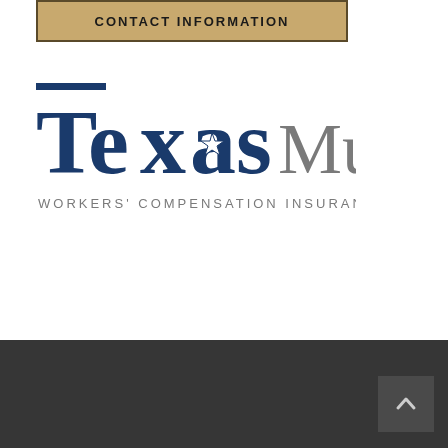CONTACT INFORMATION
[Figure (logo): Texas Mutual Workers' Compensation Insurance logo]
[Figure (other): Dark footer bar with scroll-to-top button (chevron up arrow)]